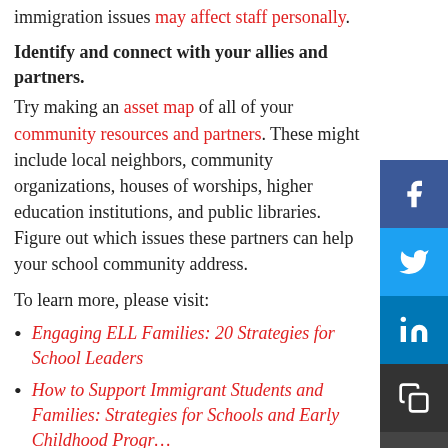immigration issues may affect staff personally.
Identify and connect with your allies and partners.
Try making an asset map of all of your community resources and partners. These might include local neighbors, community organizations, houses of worships, higher education institutions, and public libraries. Figure out which issues these partners can help your school community address.
To learn more, please visit:
Engaging ELL Families: 20 Strategies for School Leaders
How to Support Immigrant Students and Families: Strategies for Schools and Early Childhood Programs
Lessons Learned from Immigrant Families
A Principal's Perspective on Supporting ELLs and Immigrant Families
How to Address Bias and Bullying: Resources for